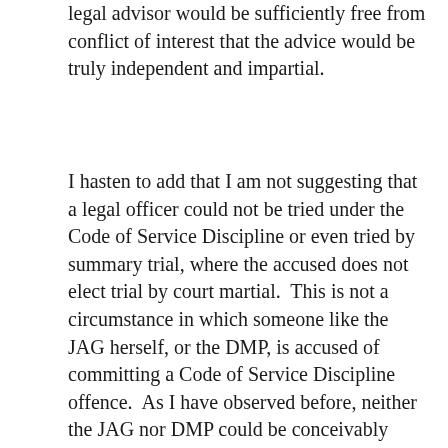legal advisor would be sufficiently free from conflict of interest that the advice would be truly independent and impartial.
I hasten to add that I am not suggesting that a legal officer could not be tried under the Code of Service Discipline or even tried by summary trial, where the accused does not elect trial by court martial.  This is not a circumstance in which someone like the JAG herself, or the DMP, is accused of committing a Code of Service Discipline offence.  As I have observed before, neither the JAG nor DMP could be conceivably prosecuted under the Code of Service Discipline.[19]  Due to their rank, they could only be tried by court martial.  However, all courts martial are prosecuted by, or under the authority of the DMP.  And the JAG is the superintendent of